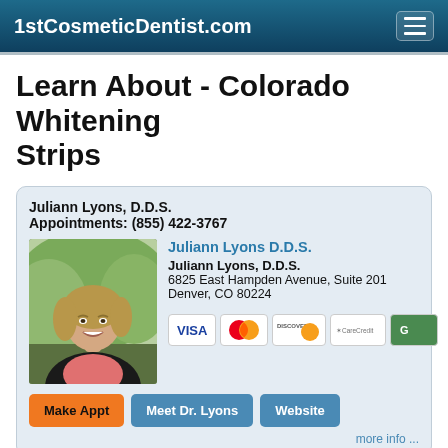1stCosmeticDentist.com
Learn About - Colorado Whitening Strips
Juliann Lyons, D.D.S.
Appointments: (855) 422-3767
[Figure (photo): Professional photo of Dr. Juliann Lyons, a woman with short blonde hair wearing a black jacket, smiling outdoors]
Juliann Lyons D.D.S.
Juliann Lyons, D.D.S.
6825 East Hampden Avenue, Suite 201
Denver, CO 80224
[Figure (other): Payment method icons: Visa, MasterCard, Discover, CareCredit, American Express]
Make Appt   Meet Dr. Lyons   Website
more info ...